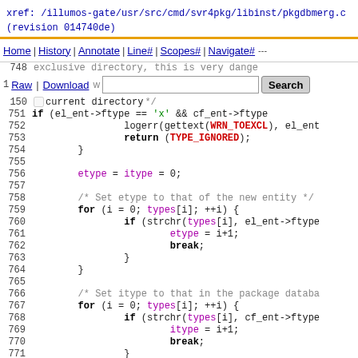xref: /illumos-gate/usr/src/cmd/svr4pkg/libinst/pkgdbmerg.c (revision 014740de)
[Figure (screenshot): Source code viewer navigation bar with Home, History, Annotate, Line#, Scopes#, Navigate# links and Raw, Download options with search box]
Code listing lines 748-772 of pkgdbmerg.c source file showing C code with etype, itype, for loops with types array, strchr calls, and break statements